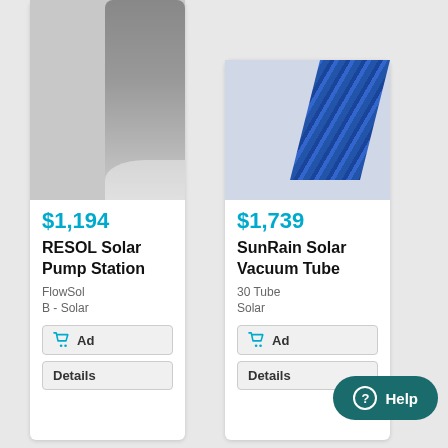[Figure (photo): Partial product image of RESOL Solar Pump Station (grey device)]
$1,194
RESOL Solar Pump Station
FlowSol B - Solar
Ad
Details
[Figure (photo): Partial product image of SunRain Solar Vacuum Tube (blue tubes)]
$1,739
SunRain Solar Vacuum Tube
30 Tube Solar
Ad
Details
Help